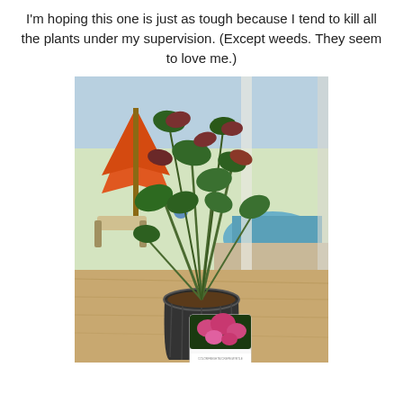I'm hoping this one is just as tough because I tend to kill all the plants under my supervision. (Except weeds. They seem to love me.)
[Figure (photo): A small potted plant (ColorFresh Crepe Myrtle) in a black plastic nursery pot, sitting on a wooden table. The plant has green and reddish leaves. A plant label with pink flowers is attached to the pot. In the background through a glass door/window: a patio with an orange umbrella, lounge chairs, and a swimming pool.]